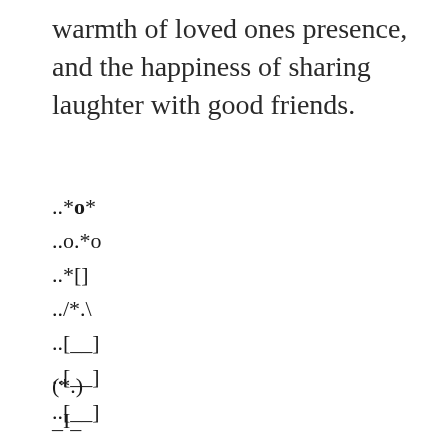warmth of loved ones presence, and the happiness of sharing laughter with good friends.
..*o*
..o.*o
..*[]
../*.\.
..[__]
..[__]
..[__]
(*.) 
_I_